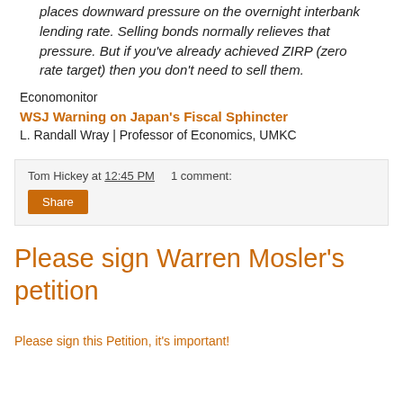places downward pressure on the overnight interbank lending rate. Selling bonds normally relieves that pressure. But if you've already achieved ZIRP (zero rate target) then you don't need to sell them.
Economonitor
WSJ Warning on Japan's Fiscal Sphincter
L. Randall Wray | Professor of Economics, UMKC
Tom Hickey at 12:45 PM   1 comment:
Share
Please sign Warren Mosler's petition
Please sign this Petition, it's important!